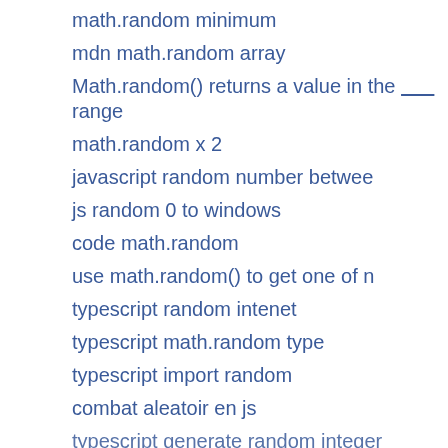math.random minimum
mdn math.random array
Math.random() returns a value in the ______ range
math.random x 2
javascript random number betwee
js random 0 to windows
code math.random
use math.random() to get one of n
typescript random intenet
typescript math.random type
typescript import random
combat aleatoir en js
typescript generate random integer